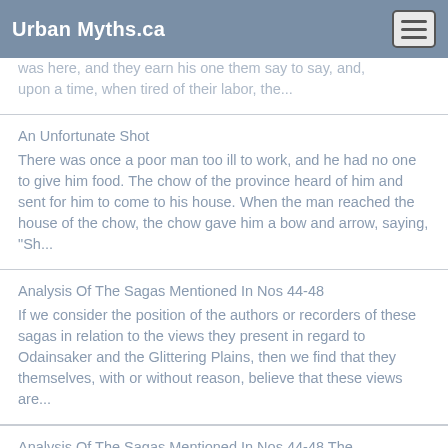Urban Myths.ca
was here, and they earn his one them say to say, and, upon a time, when tired of their labor, the...
An Unfortunate Shot
There was once a poor man too ill to work, and he had no one to give him food. The chow of the province heard of him and sent for him to come to his house. When the man reached the house of the chow, the chow gave him a bow and arrow, saying, "Sh...
Analysis Of The Sagas Mentioned In Nos 44-48
If we consider the position of the authors or recorders of these sagas in relation to the views they present in regard to Odainsaker and the Glittering Plains, then we find that they themselves, with or without reason, believe that these views are...
Analysis Of The Sagas Mentioned In Nos 44-48 The
...